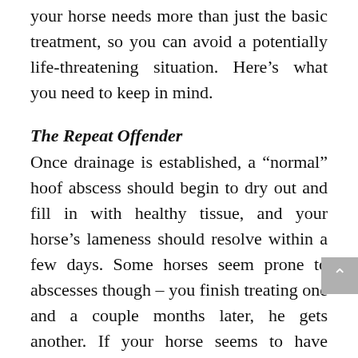your horse needs more than just the basic treatment, so you can avoid a potentially life-threatening situation. Here’s what you need to keep in mind.
The Repeat Offender
Once drainage is established, a “normal” hoof abscess should begin to dry out and fill in with healthy tissue, and your horse’s lameness should resolve within a few days. Some horses seem prone to abscesses though – you finish treating one and a couple months later, he gets another. If your horse seems to have abscesses pop up frequently, in the same foot or in different feet, there is usually a reason. Here are a few common culprits.